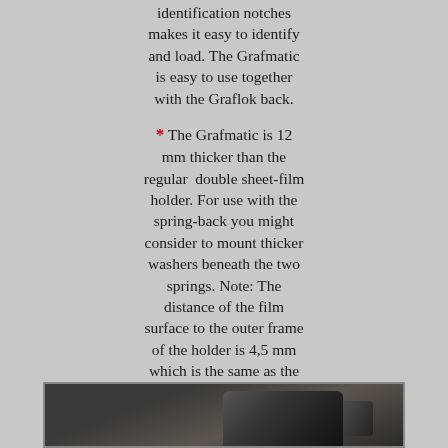identification notches makes it easy to identify and load. The Grafmatic is easy to use together with the Graflok back.
* The Grafmatic is 12 mm thicker than the regular double sheet-film holder. For use with the spring-back you might consider to mount thicker washers beneath the two springs. Note: The distance of the film surface to the outer frame of the holder is 4,5 mm which is the same as the regular sheet-film holder.
[Figure (photo): Photograph of what appears to be a Grafmatic film holder, a dark/black photographic equipment piece, shown against a light background.]